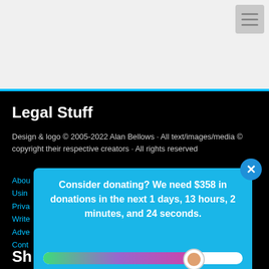[Figure (screenshot): Top gray navigation area with hamburger menu icon at top right]
Legal Stuff
Design & logo © 2005-2022 Alan Bellows · All text/images/media © copyright their respective creators · All rights reserved
About
Using
Priva
Write
Adve
Cont
[Figure (infographic): Donation popup overlay on cyan/blue background with close X button, text reading 'Consider donating? We need $358 in donations in the next 1 days, 13 hours, 2 minutes, and 24 seconds.' and a progress bar with gradient fill from green to purple showing approximately 75% progress]
Sh